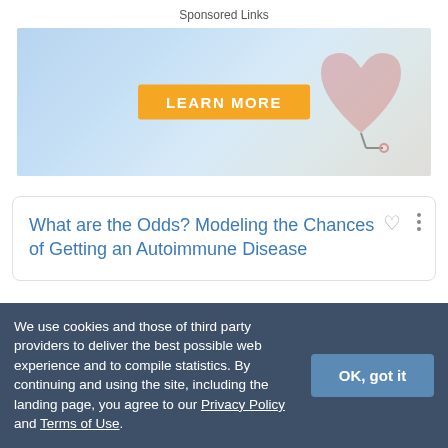Sponsored Links
[Figure (photo): Advertisement banner with orange 'LEARN MORE' button and background showing a stethoscope or medical item on a snowy/white surface]
What are the Odds? Modeling the Chances of Getting an Autoimmune Disease
We use cookies and those of third party providers to deliver the best possible web experience and to compile statistics. By continuing and using the site, including the landing page, you agree to our Privacy Policy and Terms of Use.